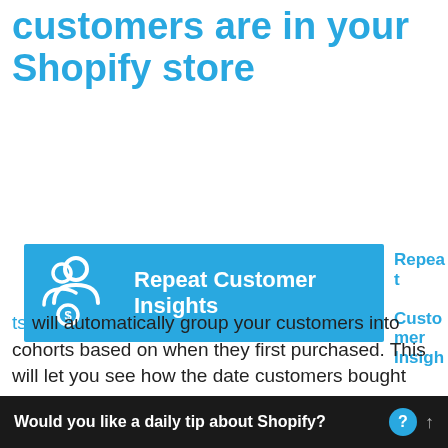customers are in your Shopify store
[Figure (logo): Repeat Customer Insights app banner with icon showing two people figures and a dollar coin, white text on blue background]
Repeat Customer Insights will automatically group your customers into cohorts based on when they first purchased. This will let you see how the date customers bought would impact their behavior.
Would you like a daily tip about Shopify?